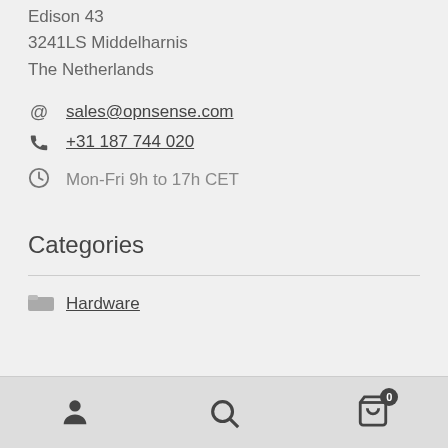Edison 43
3241LS Middelharnis
The Netherlands
sales@opnsense.com
+31 187 744 020
Mon-Fri 9h to 17h CET
Categories
Hardware
[Figure (other): Bottom navigation bar with user icon, search icon, and cart icon with badge showing 0]